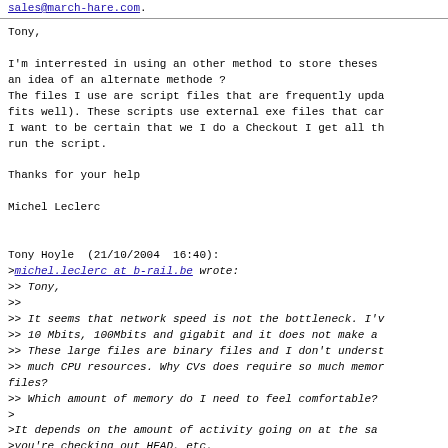sales@march-hare.com.
Tony,

I'm interrested in using an other method to store theses an idea of an alternate methode ?
The files I use are script files that are frequently upda fits well). These scripts use external exe files that ca I want to be certain that we I do a Checkout I get all t run the script.

Thanks for your help

Michel Leclerc
Tony Hoyle  (21/10/2004  16:40):
>michel.leclerc at b-rail.be wrote:
>> Tony,
>>
>> It seems that network speed is not the bottleneck. I'v
>> 10 Mbits, 100Mbits and gigabit and it does not make a
>> These large files are binary files and I don't underst
>> much CPU resources. Why CVs does require so much memor files?
>> Which amount of memory do I need to feel comfortable?
>
>It depends on the amount of activity going on at the sa
>you're checking out HEAD, etc.